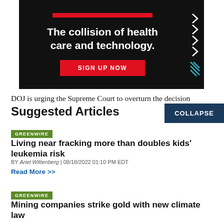[Figure (infographic): Advertisement banner with black background, white bold text 'The collision of health care and technology.', red SIGN UP NOW button, red bar at top, chevron arrows on right side]
DOJ is urging the Supreme Court to overturn the decision
Suggested Articles
COLLAPSE
GREENWIRE
Living near fracking more than doubles kids' leukemia risk
BY Ariel Wittenberg | 08/18/2022 01:10 PM EDT
Read More >>
GREENWIRE
Mining companies strike gold with new climate law